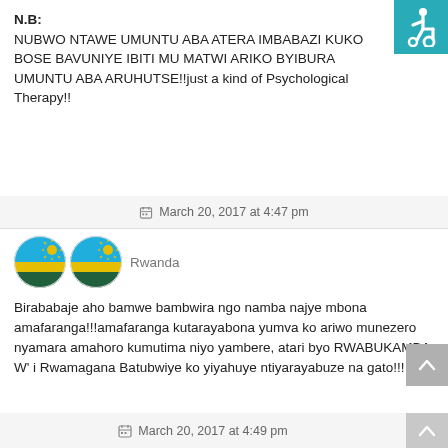N.B:
NUBWO NTAWE UMUNTU ABA ATERA IMBABAZI KUKO BOSE BAVUNIYE IBITI MU MATWI ARIKO BYIBURA UMUNTU ABA ARUHUTSE!!just a kind of Psychological Therapy!!
[Figure (infographic): Accessibility wheelchair icon, white on teal background, top right corner]
March 20, 2017 at 4:47 pm
[Figure (illustration): Two circular Rwandan flag avatars side by side]
Rwanda
Birababaje aho bamwe bambwira ngo namba najye mbona amafaranga!!!amafaranga kutarayabona yumva ko ariwo munezero nyamara amahoro kumutima niyo yambere, atari byo RWABUKAMBA W' i Rwamagana Batubwiye ko yiyahuye ntiyarayabuze na gato!!!
March 20, 2017 at 4:49 pm